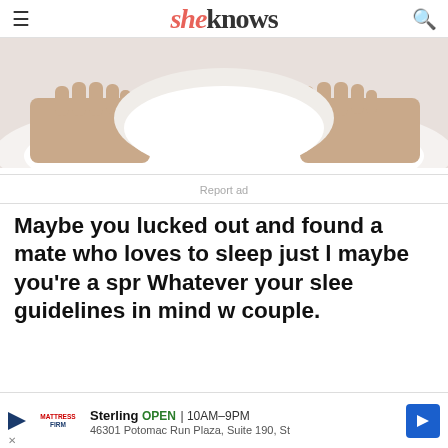sheknows
[Figure (photo): Couple in bed, hands clasped over white bedding, soft light background]
Report ad
Maybe you lucked out and found a mate who loves to sleep just l maybe you're a spr Whatever your slee guidelines in mind w couple.
[Figure (screenshot): Google Maps advertisement for Mattress Firm in Sterling, OPEN 10AM–9PM, 46301 Potomac Run Plaza, Suite 190, St]